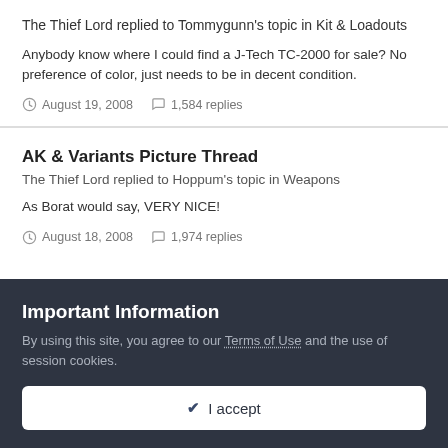The Thief Lord replied to Tommygunn's topic in Kit & Loadouts
Anybody know where I could find a J-Tech TC-2000 for sale? No preference of color, just needs to be in decent condition.
August 19, 2008   1,584 replies
AK & Variants Picture Thread
The Thief Lord replied to Hoppum's topic in Weapons
As Borat would say, VERY NICE!
August 18, 2008   1,974 replies
Important Information
By using this site, you agree to our Terms of Use and the use of session cookies.
✔ I accept